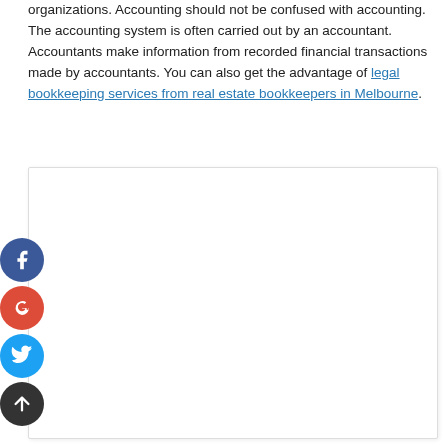organizations. Accounting should not be confused with accounting. The accounting system is often carried out by an accountant. Accountants make information from recorded financial transactions made by accountants. You can also get the advantage of legal bookkeeping services from real estate bookkeepers in Melbourne.
[Figure (other): Empty white content box with light border and shadow, likely an embedded image or advertisement placeholder]